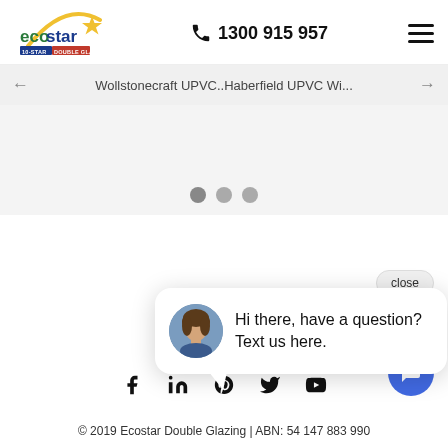[Figure (logo): Ecostar 10-Star Double Glazing logo with yellow arc and star]
1300 915 957
Wollstonecraft UPVC..Haberfield UPVC Wi...
[Figure (screenshot): Slideshow placeholder area with three grey dots navigation]
close
[Figure (illustration): Chat popup with female avatar and text: Hi there, have a question? Text us here.]
Hi there, have a question? Text us here.
[Figure (infographic): Social media icons: Facebook, LinkedIn, Pinterest, Twitter, YouTube]
© 2019 Ecostar Double Glazing | ABN: 54 147 883 990